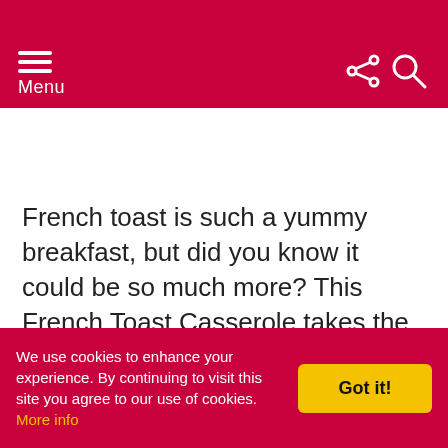Menu
French toast is such a yummy breakfast, but did you know it could be so much more? This French Toast Casserole takes the best brunch and makes it better.
Every single...
We use cookies to enhance your experience. By continuing to visit this site you agree to our use of cookies. More info